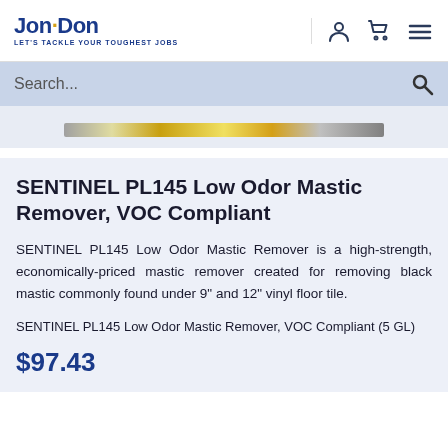Jon·Don — LET'S TACKLE YOUR TOUGHEST JOBS
Search...
SENTINEL PL145 Low Odor Mastic Remover, VOC Compliant
SENTINEL PL145 Low Odor Mastic Remover is a high-strength, economically-priced mastic remover created for removing black mastic commonly found under 9" and 12" vinyl floor tile.
SENTINEL PL145 Low Odor Mastic Remover, VOC Compliant (5 GL)
$97.43